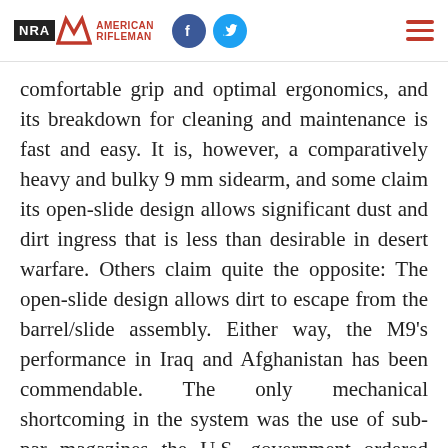NRA American Rifleman — with Facebook and Twitter social icons and hamburger menu
comfortable grip and optimal ergonomics, and its breakdown for cleaning and maintenance is fast and easy. It is, however, a comparatively heavy and bulky 9 mm sidearm, and some claim its open-slide design allows significant dust and dirt ingress that is less than desirable in desert warfare. Others claim quite the opposite: The open-slide design allows dirt to escape from the barrel/slide assembly. Either way, the M9's performance in Iraq and Afghanistan has been commendable. The only mechanical shortcoming in the system was the use of sub-par magazines the U.S. government ordered from Check-Mate Industries before the war.  Reportedly, the specifications the government requested resulted in magazines that performed poorly in desert climates. Many soldiers